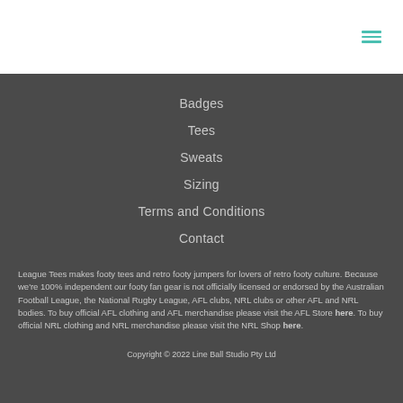[Figure (other): Hamburger menu icon (three horizontal teal lines)]
Badges
Tees
Sweats
Sizing
Terms and Conditions
Contact
League Tees makes footy tees and retro footy jumpers for lovers of retro footy culture. Because we're 100% independent our footy fan gear is not officially licensed or endorsed by the Australian Football League, the National Rugby League, AFL clubs, NRL clubs or other AFL and NRL bodies. To buy official AFL clothing and AFL merchandise please visit the AFL Store here. To buy official NRL clothing and NRL merchandise please visit the NRL Shop here.
Copyright © 2022 Line Ball Studio Pty Ltd